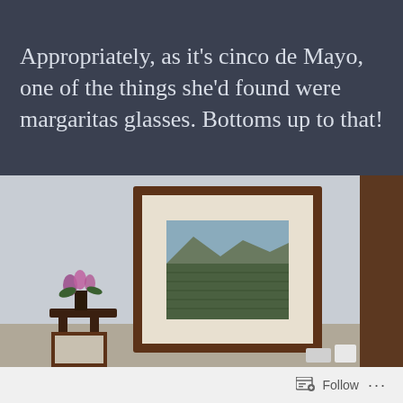Appropriately, as it's cinco de Mayo, one of the things she'd found were margaritas glasses. Bottoms up to that!
[Figure (photo): Interior room photo showing a framed landscape painting hanging on a light gray wall, with a dark wood table holding a vase of pink and purple flowers on the left side, and a wooden door frame visible on the right.]
Follow ···